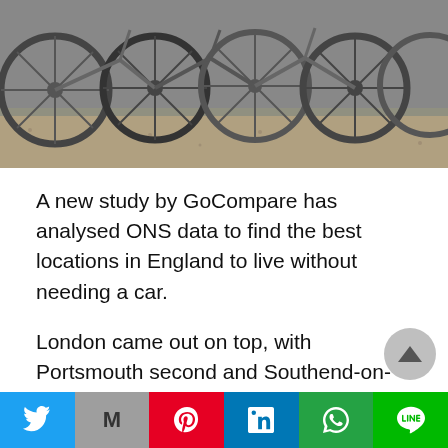[Figure (photo): Photograph of multiple bicycles parked together, showing wheels and frames, with gravel/pavement surface visible below.]
A new study by GoCompare has analysed ONS data to find the best locations in England to live without needing a car.
London came out on top, with Portsmouth second and Southend-on-Sea third. Completing the top 20 were Bristol, Liverpool, Manchester, Newcastle, Leicester, Brighton and Hove, Blackburn, Reading, Wallasey, Birmingham, Nottingham, North Shields, Altrincham, Watford, Southampton, Oldham and
[Figure (infographic): Social media sharing bar at bottom with Twitter, Mail, Pinterest, LinkedIn, WhatsApp, and Line buttons.]